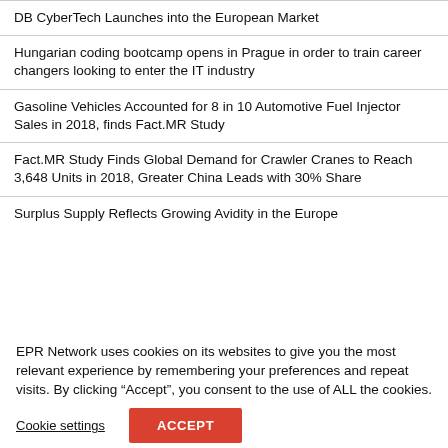DB CyberTech Launches into the European Market
Hungarian coding bootcamp opens in Prague in order to train career changers looking to enter the IT industry
Gasoline Vehicles Accounted for 8 in 10 Automotive Fuel Injector Sales in 2018, finds Fact.MR Study
Fact.MR Study Finds Global Demand for Crawler Cranes to Reach 3,648 Units in 2018, Greater China Leads with 30% Share
Surplus Supply Reflects Growing Avidity in the Europe
EPR Network uses cookies on its websites to give you the most relevant experience by remembering your preferences and repeat visits. By clicking “Accept”, you consent to the use of ALL the cookies.
Cookie settings
ACCEPT